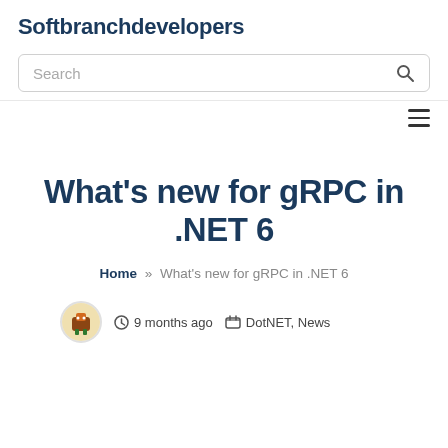Softbranchdevelopers
Search
What's new for gRPC in .NET 6
Home » What's new for gRPC in .NET 6
9 months ago   DotNET, News